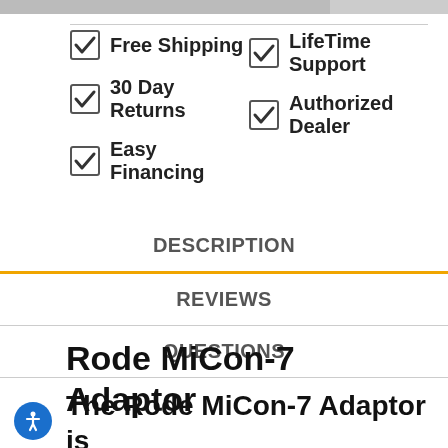Free Shipping
LifeTime Support
30 Day Returns
Authorized Dealer
Easy Financing
DESCRIPTION
REVIEWS
QUESTIONS
Rode MiCon-7 Adaptor
The Rode MiCon-7 Adaptor is designed to provide seamless